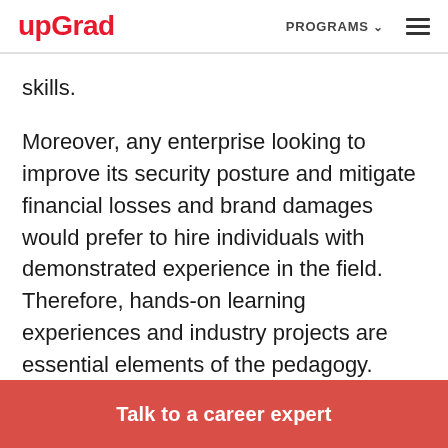upGrad   PROGRAMS ☰
skills.
Moreover, any enterprise looking to improve its security posture and mitigate financial losses and brand damages would prefer to hire individuals with demonstrated experience in the field. Therefore, hands-on learning experiences and industry projects are essential elements of the pedagogy.
Talk to a career expert